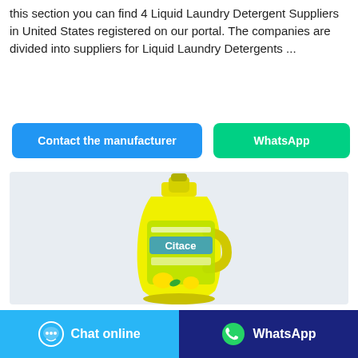this section you can find 4 Liquid Laundry Detergent Suppliers in United States registered on our portal. The companies are divided into suppliers for Liquid Laundry Detergents ...
[Figure (other): Two call-to-action buttons: 'Contact the manufacturer' (blue) and 'WhatsApp' (green)]
[Figure (photo): Yellow plastic bottle of Citace lemon liquid laundry detergent on a light grey background]
[Figure (other): Footer bar with two buttons: 'Chat online' (light blue with chat bubble icon) and 'WhatsApp' (dark blue with WhatsApp icon)]